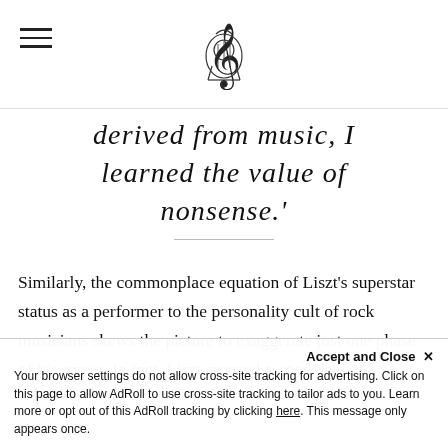[hamburger menu icon] [lyre/music logo]
derived from music, I learned the value of nonsense.'
Similarly, the commonplace equation of Liszt's superstar status as a performer to the personality cult of rock musicians skews the picture to exaggerate just one phase of his career. In fact, Liszt aroused a good deal of hostility not so much for his per... promotion of convention-challenging...
Accept and Close ×
Your browser settings do not allow cross-site tracking for advertising. Click on this page to allow AdRoll to use cross-site tracking to tailor ads to you. Learn more or opt out of this AdRoll tracking by clicking here. This message only appears once.